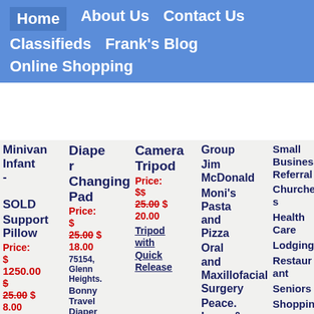Home | About Us | Contact Us | Classifieds | Frank's Blog | Online Shopping
Minivan Infant - SOLD Support Pillow
Price: $ 1250.00 $ 25.00 $ 8.00
1999 Chrysler Town & Country Minivan
75154, Glenn Heights
Diaper Changing Pad
Price: $ 25.00 $ 18.00
75154, Glenn Heights
Bonny Travel Diaper
Camera Tripod
Price: $ $ 25.00 $ 20.00
Tripod with Quick Release
Group
Jim McDonald
Moni's Pasta and Pizza
Oral and Maxillofacial Surgery
Peace. Love. & Eatz Smoothie Bar
Small Business Referral
Churches
Health Care
Lodging
Restaurant
Seniors
Shopping and Services
Online